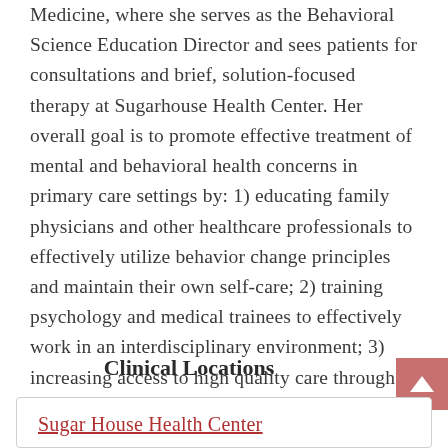Medicine, where she serves as the Behavioral Science Education Director and sees patients for consultations and brief, solution-focused therapy at Sugarhouse Health Center. Her overall goal is to promote effective treatment of mental and behavioral health concerns in primary care settings by: 1) educating family physicians and other healthcare professionals to effectively utilize behavior change principles and maintain their own self-care; 2) training psychology and medical trainees to effectively work in an interdisciplinary environment; 3) increasing access to high quality care through improving behavioral health services and reducing barriers to care.
Clinical Locations
Sugar House Health Center